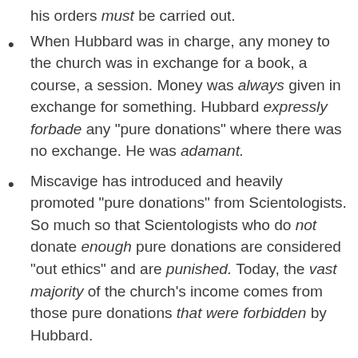his orders must be carried out.
When Hubbard was in charge, any money to the church was in exchange for a book, a course, a session. Money was always given in exchange for something. Hubbard expressly forbade any "pure donations" where there was no exchange. He was adamant.
Miscavige has introduced and heavily promoted "pure donations" from Scientologists. So much so that Scientologists who do not donate enough pure donations are considered "out ethics" and are punished. Today, the vast majority of the church's income comes from those pure donations that were forbidden by Hubbard.
When Hubbard was in charge, he found that big events--at that time called congresses and held twice a year--artificially boosted church's statistics and then inevitably caused a ruinous drop in church activity. He forbade such big events. The "boom" was artificial and the crash was...